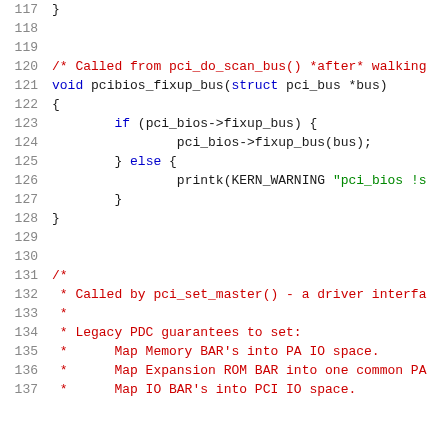Source code listing, lines 117-137, showing pcibios_fixup_bus function and a comment block about pci_set_master